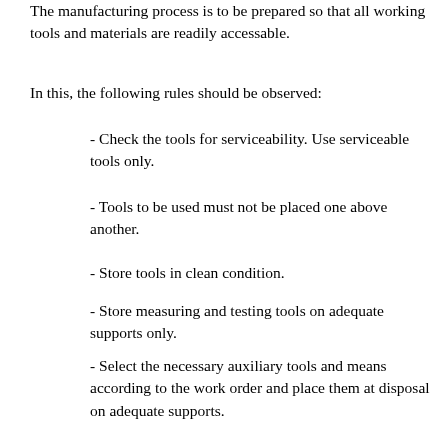The manufacturing process is to be prepared so that all working tools and materials are readily accessable.
In this, the following rules should be observed:
- Check the tools for serviceability. Use serviceable tools only.
- Tools to be used must not be placed one above another.
- Store tools in clean condition.
- Store measuring and testing tools on adequate supports only.
- Select the necessary auxiliary tools and means according to the work order and place them at disposal on adequate supports.
Setting up of the lathe for centring, drilling or counterboring/ countersinking basically involves the following steps:
- Cleaning/checking of work piece